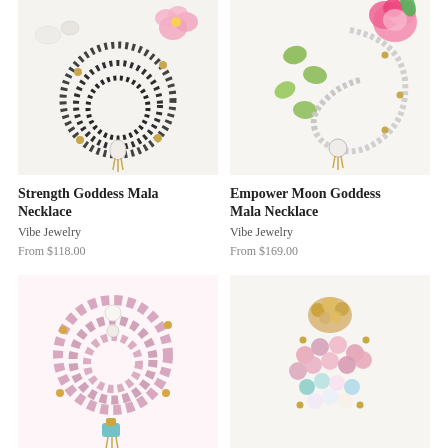[Figure (photo): Strength Goddess Mala Necklace product photo: black beaded mala necklace with gold accents and white crystal pendant, pink flower, white stones on white background]
[Figure (photo): Empower Moon Goddess Mala Necklace product photo: white/grey beaded mala necklace with gold tassel and crystal pendant, green leaves, pink rose on white background]
Strength Goddess Mala Necklace
Vibe Jewelry
From $118.00
Empower Moon Goddess Mala Necklace
Vibe Jewelry
From $169.00
[Figure (photo): Pink kunzite/rose quartz mala necklace with large pink beads, gold accents, turquoise charm on white background]
[Figure (photo): Colorful multi-stone mala necklace with pink, turquoise, and iridescent beads, gold accents on white background]